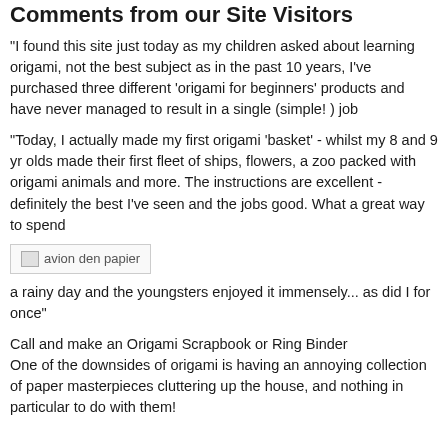Comments from our Site Visitors
"I found this site just today as my children asked about learning origami, not the best subject as in the past 10 years, I've purchased three different 'origami for beginners' products and have never managed to result in a single (simple! ) job
"Today, I actually made my first origami 'basket' - whilst my 8 and 9 yr olds made their first fleet of ships, flowers, a zoo packed with origami animals and more. The instructions are excellent - definitely the best I've seen and the jobs good. What a great way to spend
[Figure (illustration): Broken image placeholder labeled 'avion den papier']
a rainy day and the youngsters enjoyed it immensely... as did I for once"
Call and make an Origami Scrapbook or Ring Binder
One of the downsides of origami is having an annoying collection of paper masterpieces cluttering up the house, and nothing in particular to do with them!